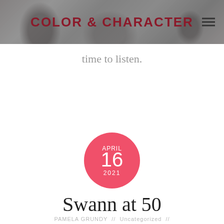COLOR & CHARACTER
time to listen.
APRIL 16 2021
Swann at 50
PAMELA GRUNDY // Uncategorized //